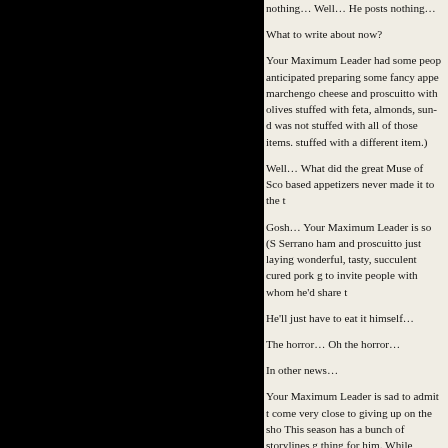nothing… Well… He posts nothing…
What to write about now?
Your Maximum Leader had some peop anticipated preparing some fancy appe marchengo cheese and proscuitto with olives stuffed with feta, almonds, sun-d was not stuffed with all of those items. stuffed with a different item.)
Well… What did the great Muse of Sco based appetizers never made it to the t
Gosh… Your Maximum Leader is so (S Serrano ham and proscuitto just laying wonderful, tasty, succulent cured pork g to invite people with whom he'd share t
He'll just have to eat it himself…
The horror… Oh the horror…
In other news…
Your Maximum Leader is sad to admit t come very close to giving up on the sho This season has a bunch of storylines g thing for him. While enduring the storyli just stop watching. But then the vampir